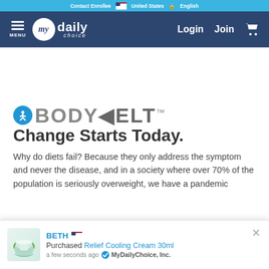Contact Enrollee | United States | English
[Figure (screenshot): MyDailyChoice website navigation bar with hamburger menu, logo, Login and Join links, and cart icon on dark blue background]
[Figure (logo): BODYMELT logo with accessibility icon and trademark symbol]
Change Starts Today.
Why do diets fail? Because they only address the symptom and never the disease, and in a society where over 70% of the population is seriously overweight, we have a pandemic
[Figure (infographic): Notification popup showing BETH with US flag purchased Relief Cooling Cream 30ml a few seconds ago from MyDailyChoice, Inc.]